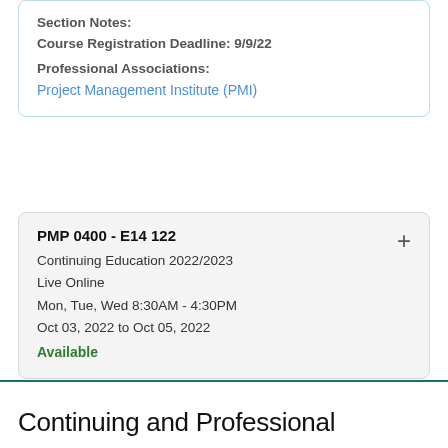Section Notes:
Course Registration Deadline: 9/9/22
Professional Associations:
Project Management Institute (PMI)
PMP 0400 - E14 122
Continuing Education 2022/2023
Live Online
Mon, Tue, Wed 8:30AM - 4:30PM
Oct 03, 2022 to Oct 05, 2022
Available
Continuing and Professional